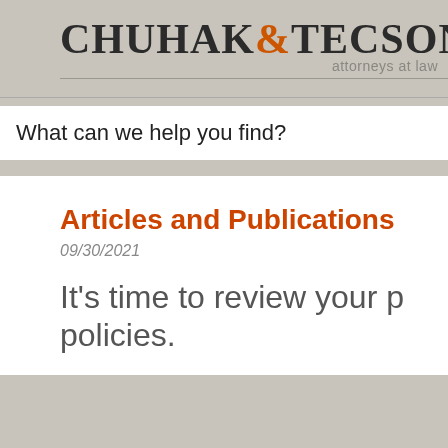CHUHAK&TECSON P.C. attorneys at law
What can we help you find?
Articles and Publications
09/30/2021
It's time to review your p policies.